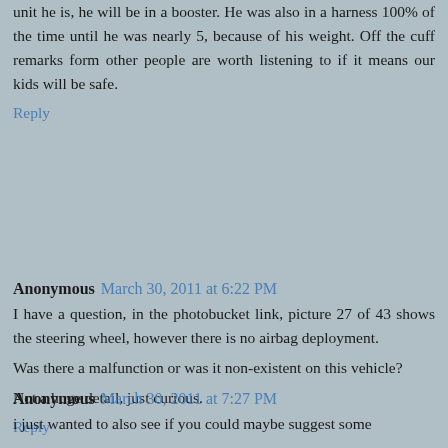unit he is, he will be in a booster. He was also in a harness 100% of the time until he was nearly 5, because of his weight. Off the cuff remarks form other people are worth listening to if it means our kids will be safe.
Reply
Anonymous  March 30, 2011 at 6:22 PM
I have a question, in the photobucket link, picture 27 of 43 shows the steering wheel, however there is no airbag deployment.
Was there a malfunction or was it non-existent on this vehicle?
Not a huge detail, just curious.
Reply
Anonymous  March 30, 2011 at 7:27 PM
i just wanted to also see if you could maybe suggest some